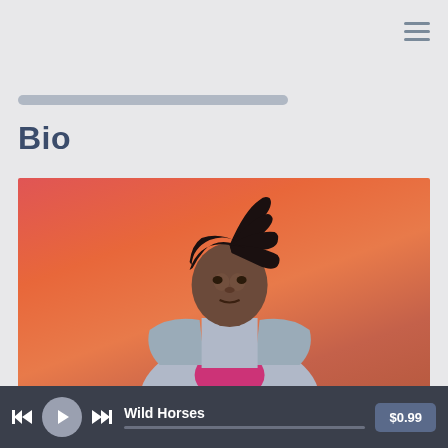≡
Bio
[Figure (photo): Artist photo: a person with dreadlocks wearing a denim jacket over a pink shirt, photographed against an orange/coral gradient background]
Wild Horses  $0.99